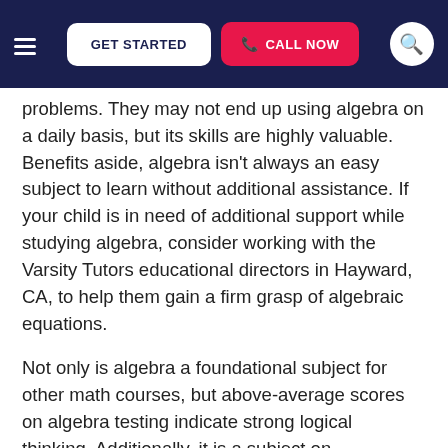GET STARTED | CALL NOW
problems. They may not end up using algebra on a daily basis, but its skills are highly valuable. Benefits aside, algebra isn't always an easy subject to learn without additional assistance. If your child is in need of additional support while studying algebra, consider working with the Varsity Tutors educational directors in Hayward, CA, to help them gain a firm grasp of algebraic equations.
Not only is algebra a foundational subject for other math courses, but above-average scores on algebra testing indicate strong logical thinking. Additionally, it is a subject on standardized tests, such as the ACT, the SAT and the CAASPP (California Assessment of Student Performance and Progress) exam. An experienced algebra tutor in Hayward can assist your child in studying for these important exams.